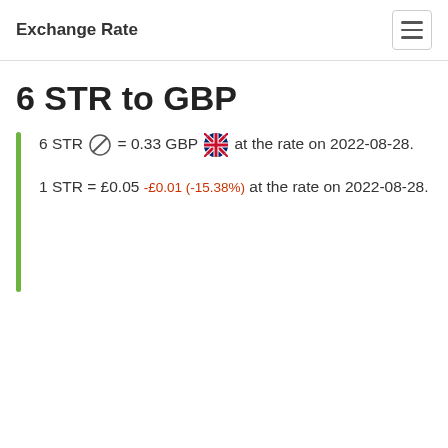Exchange Rate
6 STR to GBP
6 STR = 0.33 GBP at the rate on 2022-08-28.
1 STR = £0.05 -£0.01 (-15.38%) at the rate on 2022-08-28.